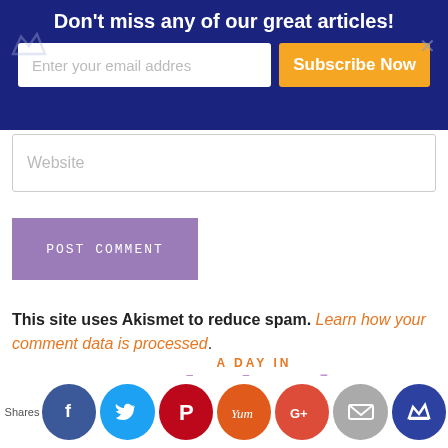Don't miss any of our great articles! [email input] Subscribe Now
Website
POST COMMENT
This site uses Akismet to reduce spam. Learn how your comment data is processed.
[Figure (logo): A Day In Motherhood blog logo with social share icons: Facebook, Twitter, Pinterest, Yummly, Google+, Email, Crown]
Shares [social icons: Facebook, Twitter, Pinterest, Yum, Google+, Mail, Crown]